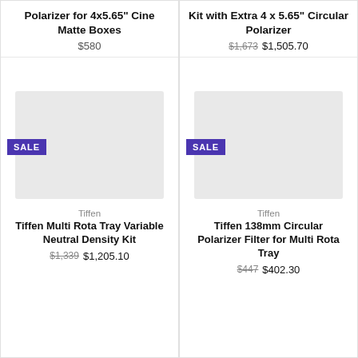Polarizer for 4x5.65" Cine Matte Boxes
$580
Kit with Extra 4 x 5.65" Circular Polarizer
$1,673 $1,505.70
SALE
[Figure (photo): Product image placeholder for Tiffen Multi Rota Tray Variable Neutral Density Kit]
SALE
[Figure (photo): Product image placeholder for Tiffen 138mm Circular Polarizer Filter for Multi Rota Tray]
Tiffen
Tiffen Multi Rota Tray Variable Neutral Density Kit
$1,339 $1,205.10
Tiffen
Tiffen 138mm Circular Polarizer Filter for Multi Rota Tray
$447 $402.30